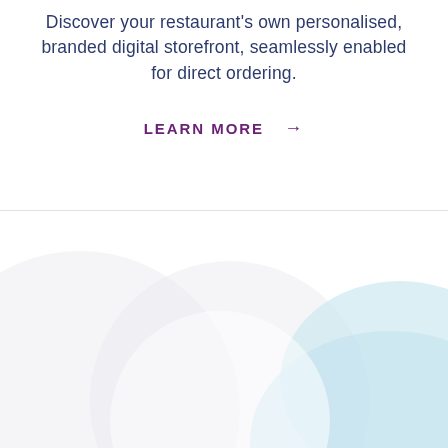Discover your restaurant's own personalised, branded digital storefront, seamlessly enabled for direct ordering.
LEARN MORE →
[Figure (illustration): Abstract decorative background with overlapping soft circular and curved shapes in light blue and light gray tones on white background]